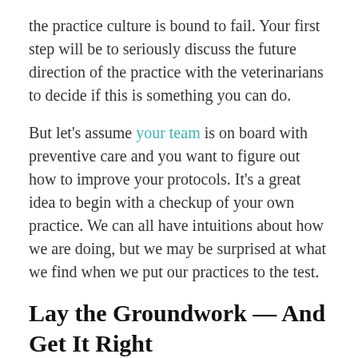the practice culture is bound to fail. Your first step will be to seriously discuss the future direction of the practice with the veterinarians to decide if this is something you can do.
But let's assume your team is on board with preventive care and you want to figure out how to improve your protocols. It's a great idea to begin with a checkup of your own practice. We can all have intuitions about how we are doing, but we may be surprised at what we find when we put our practices to the test.
Lay the Groundwork — And Get It Right
First determine which aspects of preventive